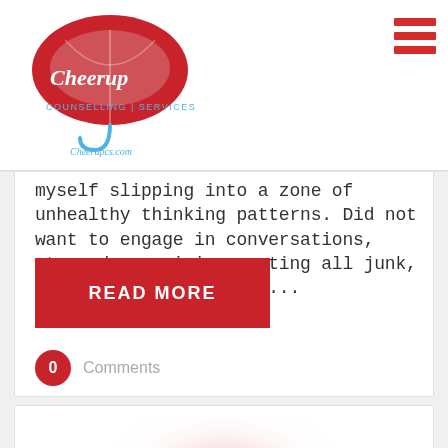CheerUp Counselling Services - cheerupcs.com
myself slipping into a zone of unhealthy thinking patterns. Did not want to engage in conversations, stopped exercising, eating all junk, asking myself a lot of...
READ MORE
0  Comments
[Figure (photo): Blurred red circular shape, likely a decorative image or photo thumbnail for the next blog post card]